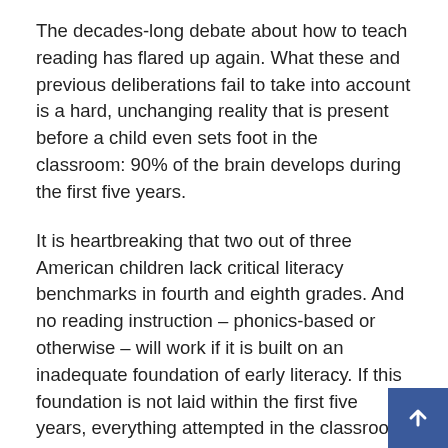The decades-long debate about how to teach reading has flared up again. What these and previous deliberations fail to take into account is a hard, unchanging reality that is present before a child even sets foot in the classroom: 90% of the brain develops during the first five years.
It is heartbreaking that two out of three American children lack critical literacy benchmarks in fourth and eighth grades. And no reading instruction – phonics-based or otherwise – will work if it is built on an inadequate foundation of early literacy. If this foundation is not laid within the first five years, everything attempted in the classroom will fail, with devastating consequences for the future of our children and our society.
How to teach reading? Start at birth. Provide parents with consistent support and tools from day one. Help them create a rich and robust home literacy environment that includes lots of books. Make sure children arrive at kindergarten strong and ready for what lies ahead.